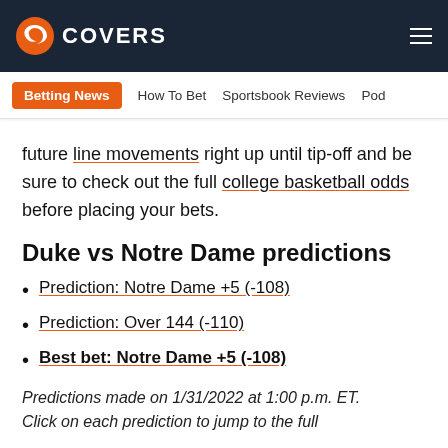COVERS
Betting News | How To Bet | Sportsbook Reviews | Pod
future line movements right up until tip-off and be sure to check out the full college basketball odds before placing your bets.
Duke vs Notre Dame predictions
Prediction: Notre Dame +5 (-108)
Prediction: Over 144 (-110)
Best bet: Notre Dame +5 (-108)
Predictions made on 1/31/2022 at 1:00 p.m. ET. Click on each prediction to jump to the full